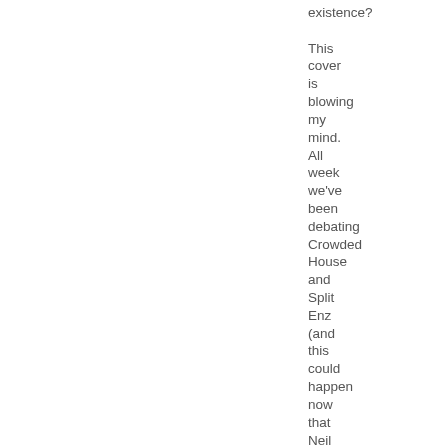existence? This cover is blowing my mind. All week we've been debating Crowded House and Split Enz (and this could happen now that Neil